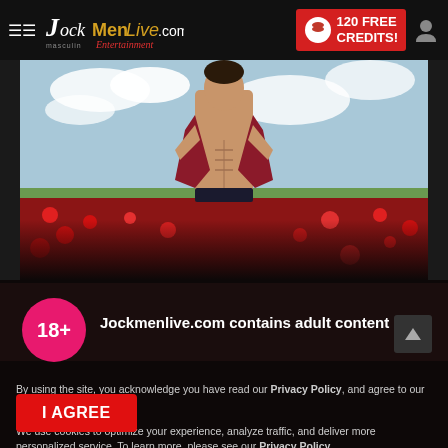JockMenLive.com — masculine Entertainment — 120 FREE CREDITS!
[Figure (photo): Muscular shirtless young man in red plaid shirt open, standing in a field of red poppies under a cloudy sky]
18+  Jockmenlive.com contains adult content
By using the site, you acknowledge you have read our Privacy Policy, and agree to our Terms and Conditions.
We use cookies to optimize your experience, analyze traffic, and deliver more personalized service. To learn more, please see our Privacy Policy.
I AGREE